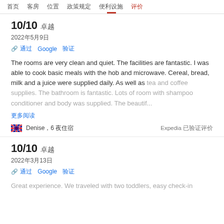首页  客房  位置  政策规定  便利设施  评价
10/10 卓越
2022年5月9日
通过 Google 验证
The rooms are very clean and quiet. The facilities are fantastic. I was able to cook basic meals with the hob and microwave. Cereal, bread, milk and a juice were supplied daily. As well as tea and coffee supplies. The bathroom is fantastic. Lots of room with shampoo conditioner and body was supplied. The beautif...
更多阅读
Denise，6 夜住宿
Expedia 已验证评价
10/10 卓越
2022年3月13日
通过 Google 验证
Great experience. We traveled with two toddlers, easy check-in